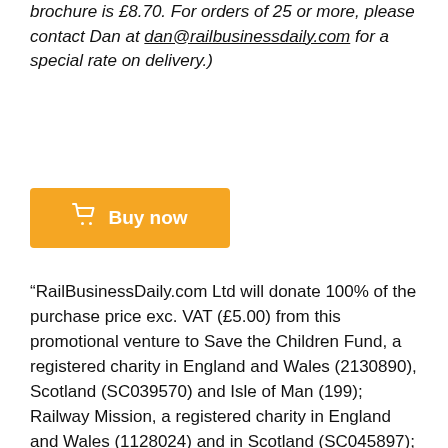brochure is £8.70. For orders of 25 or more, please contact Dan at dan@railbusinessdaily.com for a special rate on delivery.)
[Figure (other): Orange 'Buy now' button with a shopping cart icon]
“RailBusinessDaily.com Ltd will donate 100% of the purchase price exc. VAT (£5.00) from this promotional venture to Save the Children Fund, a registered charity in England and Wales (2130890), Scotland (SC039570) and Isle of Man (199); Railway Mission, a registered charity in England and Wales (1128024) and in Scotland (SC045897); Railway Children, registered charity number (1058991); Railway Benefit Fund,